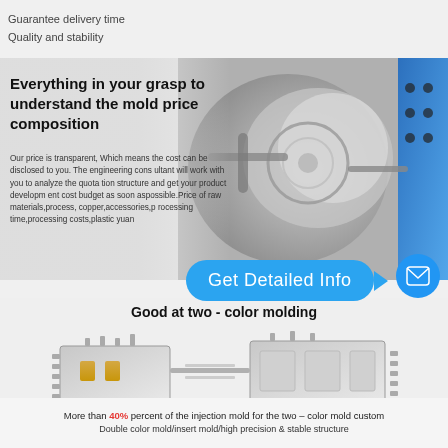Guarantee delivery time
Quality and stability
Everything in your grasp to understand the mold price composition
Our price is transparent, Which means the cost can be disclosed to you. The engineering consultant will work with you to analyze the quotation structure and get your product development cost budget as soon aspossible.Price of raw materials,process, copper,accessories,processing time,processing costs,plastic yuan
[Figure (photo): Close-up photo of industrial injection mold machinery with metallic components, blue accents]
Get Detailed Info
Good at two - color molding
[Figure (photo): Exploded view of a two-color injection mold showing metallic components and brass inserts]
More than 40% percent of the injection mold for the two – color mold custom Double color mold/insert mold/high precision & stable structure